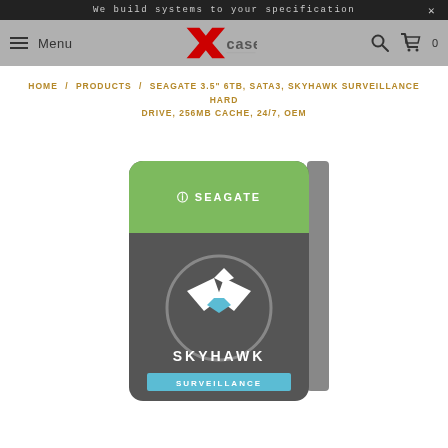We build systems to your specification
[Figure (logo): Xcase logo with red X and grey 'case' text on silver navigation bar]
HOME / PRODUCTS / SEAGATE 3.5" 6TB, SATA3, SKYHAWK SURVEILLANCE HARD DRIVE, 256MB CACHE, 24/7, OEM
[Figure (photo): Seagate SkyHawk Surveillance hard drive product photo showing the drive with green top label, dark body with SkyHawk eagle logo, and the text SKYHAWK SURVEILLANCE]